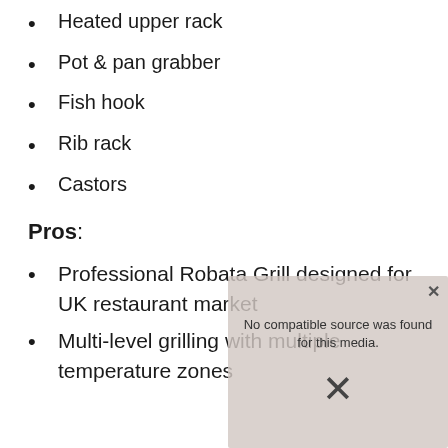Heated upper rack
Pot & pan grabber
Fish hook
Rib rack
Castors
Pros:
Professional Robata Grill designed for UK restaurant market
Multi-level grilling with multiple temperature zones
[Figure (screenshot): Video player overlay showing 'No compatible source was found for this media.' with a close button and X dismiss button, overlaid on a food/grill background image.]